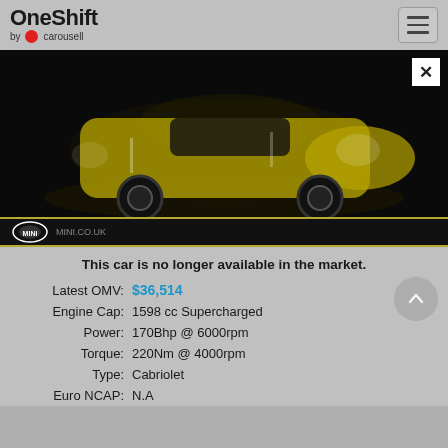OneShift by carousell
[Figure (photo): Yellow MINI Cooper S Cabriolet car photographed on dark background, front 3/4 view. White X close button in top right corner. Below the photo is a black strip with gold border showing MINI logo and MINI.co.uk text.]
This car is no longer available in the market.
| Latest OMV: | $36,514 |
| Engine Cap: | 1598 cc Supercharged |
| Power: | 170Bhp @ 6000rpm |
| Torque: | 220Nm @ 4000rpm |
| Type: | Cabriolet |
| Euro NCAP: | N.A |